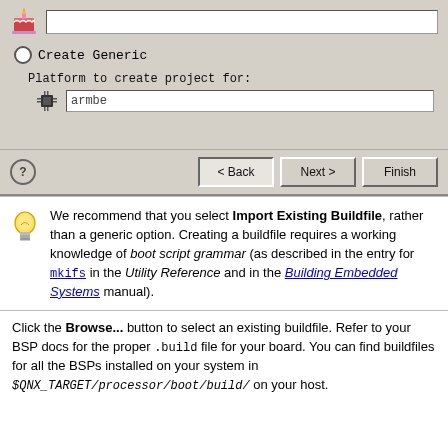[Figure (screenshot): Software wizard dialog showing a UI panel with a cake icon and text input at top, a 'Create Generic' radio button option, a 'Platform to create project for:' label with a chip icon and 'armbe' text field, and navigation buttons (Back, Next, Finish) at the bottom.]
We recommend that you select Import Existing Buildfile, rather than a generic option. Creating a buildfile requires a working knowledge of boot script grammar (as described in the entry for mkifs in the Utility Reference and in the Building Embedded Systems manual).
Click the Browse... button to select an existing buildfile. Refer to your BSP docs for the proper .build file for your board. You can find buildfiles for all the BSPs installed on your system in $QNX_TARGET/processor/boot/build/ on your host.